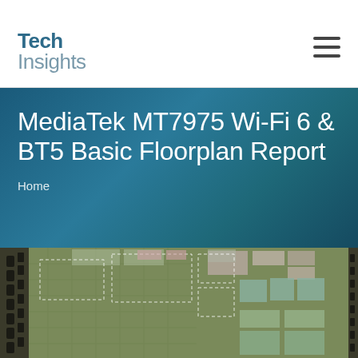TechInsights
MediaTek MT7975 Wi-Fi 6 & BT5 Basic Floorplan Report
Home
[Figure (photo): Microscope die shot of the MediaTek MT7975 Wi-Fi 6 & BT5 chip showing the floorplan with various functional blocks, metal interconnects, and bond pads visible on the integrated circuit.]